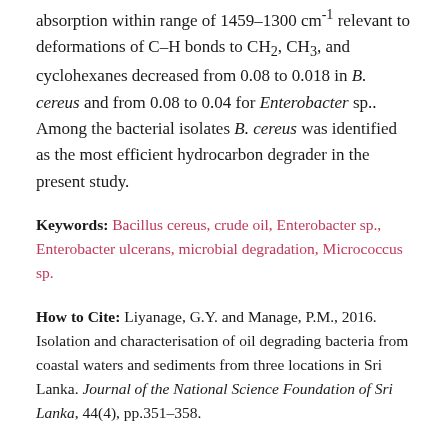absorption within range of 1459–1300 cm⁻¹ relevant to deformations of C–H bonds to CH2, CH3, and cyclohexanes decreased from 0.08 to 0.018 in B. cereus and from 0.08 to 0.04 for Enterobacter sp.. Among the bacterial isolates B. cereus was identified as the most efficient hydrocarbon degrader in the present study.
Keywords: Bacillus cereus, crude oil, Enterobacter sp., Enterobacter ulcerans, microbial degradation, Micrococcus sp.
How to Cite: Liyanage, G.Y. and Manage, P.M., 2016. Isolation and characterisation of oil degrading bacteria from coastal waters and sediments from three locations in Sri Lanka. Journal of the National Science Foundation of Sri Lanka, 44(4), pp.351–358.